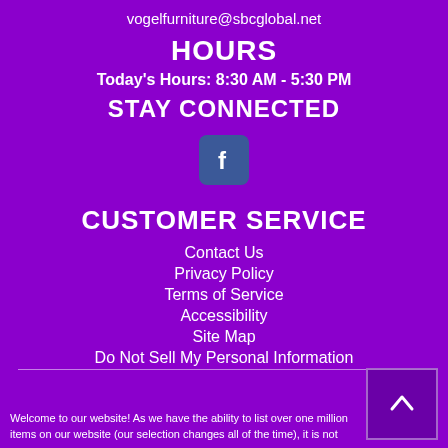vogelfurniture@sbcglobal.net
HOURS
Today's Hours: 8:30 AM - 5:30 PM
STAY CONNECTED
[Figure (logo): Facebook icon - white 'f' on teal/dark blue rounded square background]
CUSTOMER SERVICE
Contact Us
Privacy Policy
Terms of Service
Accessibility
Site Map
Do Not Sell My Personal Information
Welcome to our website! As we have the ability to list over one million items on our website (our selection changes all of the time), it is not